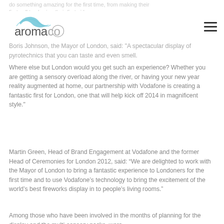do something amazing for the first time, from making their first call to sharing their first video.
[Figure (logo): Aromaco company logo with stylized wave graphic above the text 'aromaco']
Boris Johnson, the Mayor of London, said: "A spectacular display of pyrotechnics that you can taste and even smell. Where else but London would you get such an experience? Whether you are getting a sensory overload along the river, or having your new year reality augmented at home, our partnership with Vodafone is creating a fantastic first for London, one that will help kick off 2014 in magnificent style."
Martin Green, Head of Brand Engagement at Vodafone and the former Head of Ceremonies for London 2012, said: “We are delighted to work with the Mayor of London to bring a fantastic experience to Londoners for the first time and to use Vodafone’s technology to bring the excitement of the world’s best fireworks display in to people’s living rooms.”
Among those who have been involved in the months of planning for the display and the multi-sensory packs, were